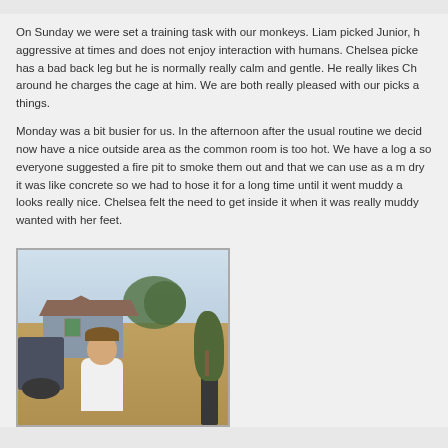On Sunday we were set a training task with our monkeys. Liam picked Junior, h aggressive at times and does not enjoy interaction with humans. Chelsea picke has a bad back leg but he is normally really calm and gentle. He really likes Ch around he charges the cage at him. We are both really pleased with our picks a things.
Monday was a bit busier for us. In the afternoon after the usual routine we deci now have a nice outside area as the common room is too hot. We have a log a so everyone suggested a fire pit to smoke them out and that we can use as a m dry it was like concrete so we had to hose it for a long time until it went muddy a looks really nice. Chelsea felt the need to get inside it when it was really muddy wanted with her feet.
[Figure (photo): Outdoor photo showing a woman leaning over near machinery/equipment, with a shed building in the background, trees, and a potted tree. Dusty outdoor setting.]